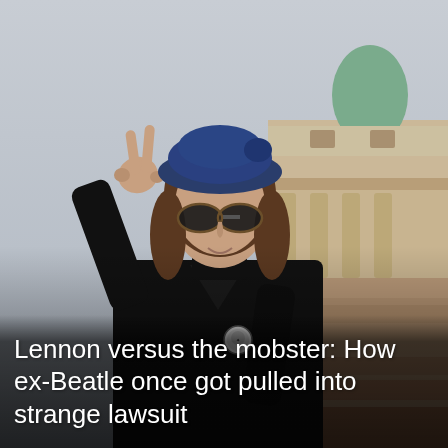[Figure (photo): A man wearing a dark blue beret, sunglasses, and a long black coat with a badge/pin on it, making a peace sign with his right hand raised. He is standing outdoors in front of the Statue of Liberty's base and pedestal. The sky is overcast and grey.]
Lennon versus the mobster: How ex-Beatle once got pulled into strange lawsuit